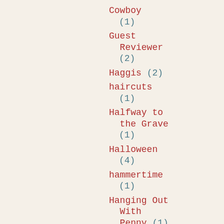Cowboy (1)
Guest Reviewer (2)
Haggis (2)
haircuts (1)
Halfway to the Grave (1)
Halloween (4)
hammertime (1)
Hanging Out With Penny (1)